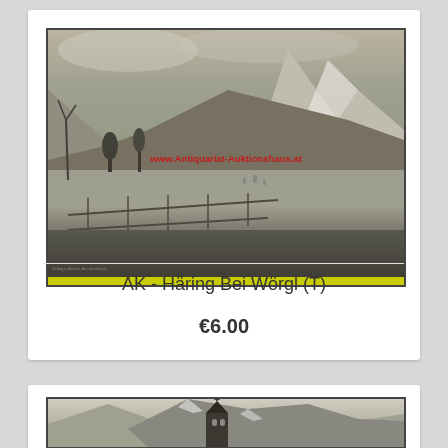[Figure (photo): Black and white vintage postcard photograph showing an Alpine valley scene near Häring bei Wörgl, Tyrol, Austria. Mountains with snowy peaks in background, a fence in the foreground, trees, and a village in the valley. Red watermark text overlay on the photo. Yellow bar at bottom of image.]
AK - Häring Bei Wörgl (T)
€6.00
[Figure (photo): Black and white vintage postcard photograph showing a church tower/steeple with Alpine mountains with snow in the background.]